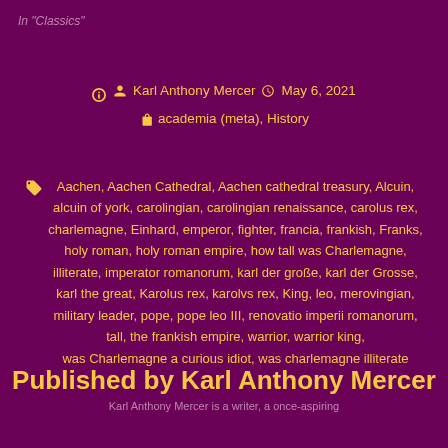In "Classics"
Karl Anthony Mercer   May 6, 2021   academia (meta), History
Aachen, Aachen Cathedral, Aachen cathedral treasury, Alcuin, alcuin of york, carolingian, carolingian renaissance, carolus rex, charlemagne, Einhard, emperor, fighter, francia, frankish, Franks, holy roman, holy roman empire, how tall was Charlemagne, illiterate, imperator romanorum, karl der große, karl der Grosse, karl the great, Karolus rex, karolvs rex, King, leo, merovingian, military leader, pope, pope leo III, renovatio imperii romanorum, tall, the frankish empire, warrior, warrior king, was Charlemagne a curious idiot, was charlemagne illiterate
Published by Karl Anthony Mercer
Karl Anthony Mercer is a writer, a once-aspiring